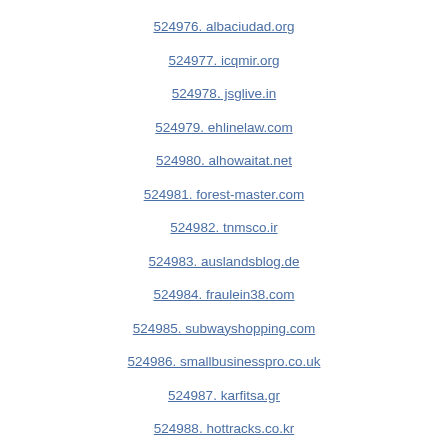524976. albaciudad.org
524977. icqmir.org
524978. jsglive.in
524979. ehlinelaw.com
524980. alhowaitat.net
524981. forest-master.com
524982. tnmsco.ir
524983. auslandsblog.de
524984. fraulein38.com
524985. subwayshopping.com
524986. smallbusinesspro.co.uk
524987. karfitsa.gr
524988. hottracks.co.kr
524989. mogut-vse.ru